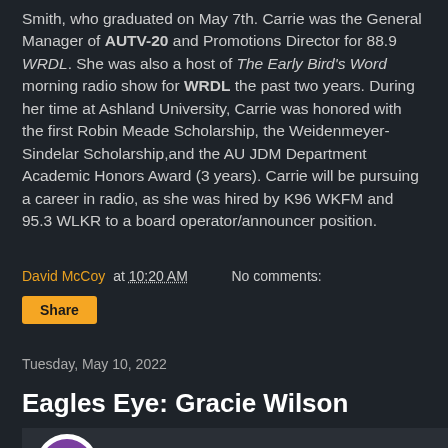Smith, who graduated on May 7th. Carrie was the General Manager of AUTV-20 and Promotions Director for 88.9 WRDL. She was also a host of The Early Bird's Word morning radio show for WRDL the past two years. During her time at Ashland University, Carrie was honored with the first Robin Meade Scholarship, the Weidenmeyer-Sindelar Scholarship,and the AU JDM Department Academic Honors Award (3 years). Carrie will be pursuing a career in radio, as she was hired by K96 WKFM and 95.3 WLKR to a board operator/announcer position.
David McCoy at 10:20 AM   No comments:
Share
Tuesday, May 10, 2022
Eagles Eye: Gracie Wilson
[Figure (screenshot): Video thumbnail showing AUTV logo and text 'Eagles Eye: Gracie Wilson']